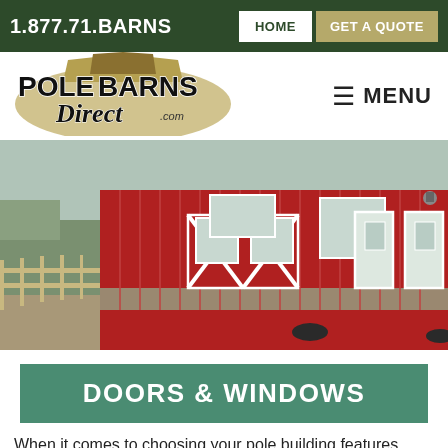1.877.71.BARNS  HOME  GET A QUOTE
[Figure (logo): Pole Barns Direct .com logo with barn silhouette in tan/gold and black text]
≡ MENU
[Figure (photo): Red pole barn building with white-trimmed windows and doors, stone foundation, and wood fence in background]
DOORS & WINDOWS
When it comes to choosing your pole building features,